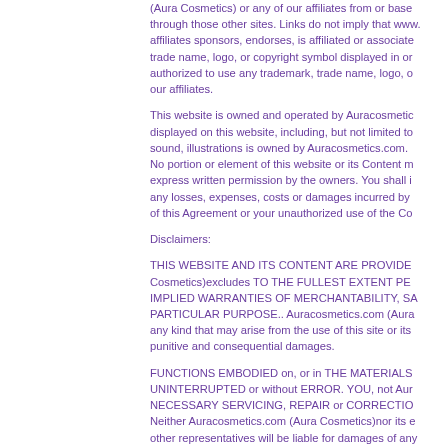(Aura Cosmetics) or any of our affiliates from or base through those other sites. Links do not imply that www. affiliates sponsors, endorses, is affiliated or associate trade name, logo, or copyright symbol displayed in or authorized to use any trademark, trade name, logo, o our affiliates.
This website is owned and operated by Auracosmetic displayed on this website, including, but not limited to sound, illustrations is owned by Auracosmetics.com. No portion or element of this website or its Content m express written permission by the owners. You shall i any losses, expenses, costs or damages incurred by of this Agreement or your unauthorized use of the Co
Disclaimers:
THIS WEBSITE AND ITS CONTENT ARE PROVIDE Cosmetics)excludes TO THE FULLEST EXTENT PE IMPLIED WARRANTIES OF MERCHANTABILITY, SA PARTICULAR PURPOSE.. Auracosmetics.com (Aura any kind that may arise from the use of this site or its punitive and consequential damages.
FUNCTIONS EMBODIED on, or in THE MATERIALS UNINTERRUPTED or without ERROR. YOU, not Aur NECESSARY SERVICING, REPAIR or CORRECTIO Neither Auracosmetics.com (Aura Cosmetics)nor its e other representatives will be liable for damages of any
Auracosmetics.com (Aura Cosmetics)uses reasonabl reliability of the Content, but we make no representat